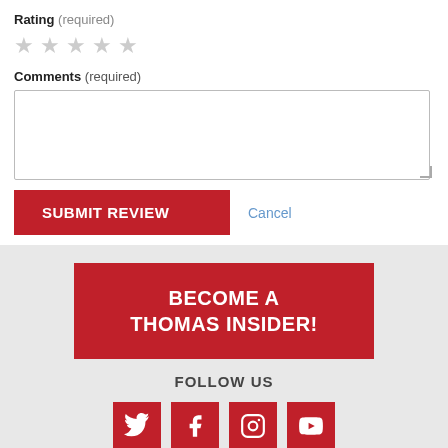Rating (required)
[Figure (illustration): Five empty star rating icons in light gray]
Comments (required)
[Figure (screenshot): Empty text area input box for comments]
SUBMIT REVIEW
Cancel
BECOME A THOMAS INSIDER!
FOLLOW US
[Figure (illustration): Four red social media icon buttons: Twitter, Facebook, Instagram, YouTube]